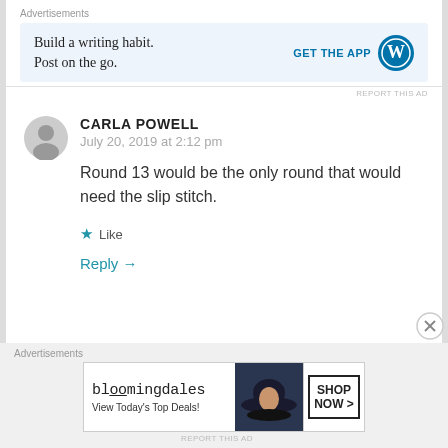[Figure (infographic): WordPress advertisement banner: 'Build a writing habit. Post on the go.' with GET THE APP button and WordPress logo]
REPORT THIS AD
CARLA POWELL
July 20, 2019 at 2:12 pm
Round 13 would be the only round that would need the slip stitch.
Like
Reply →
[Figure (infographic): Bloomingdale's advertisement: 'View Today's Top Deals!' with SHOP NOW button]